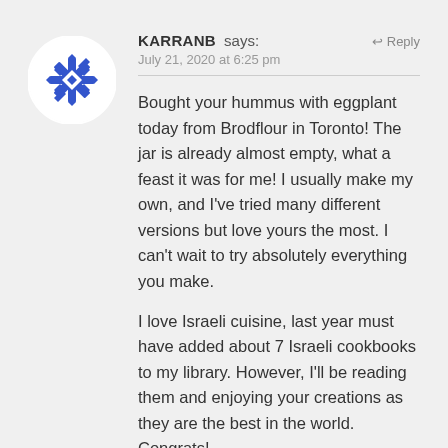[Figure (illustration): Round avatar image with blue geometric star/snowflake pattern on white background]
KARRANB says:
July 21, 2020 at 6:25 pm
↩ Reply
Bought your hummus with eggplant today from Brodflour in Toronto! The jar is already almost empty, what a feast it was for me! I usually make my own, and I've tried many different versions but love yours the most. I can't wait to try absolutely everything you make.

I love Israeli cuisine, last year must have added about 7 Israeli cookbooks to my library. However, I'll be reading them and enjoying your creations as they are the best in the world. Congrats!